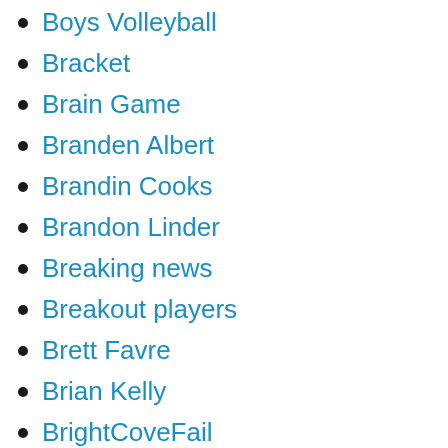Boys Volleyball
Bracket
Brain Game
Branden Albert
Brandin Cooks
Brandon Linder
Breaking news
Breakout players
Brett Favre
Brian Kelly
BrightCoveFail
BrightCoveVideo
British Open
Brock Netter
Broncos
Broncos Buzz
Broncos Wire